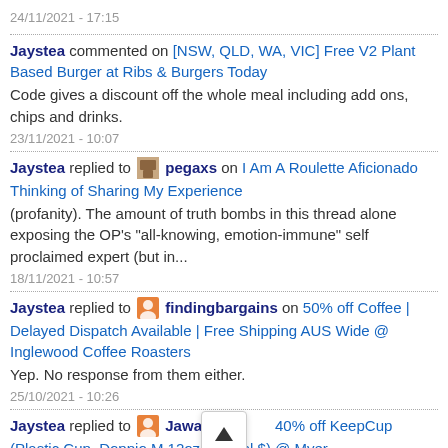24/11/2021 - 17:15
Jaystea commented on [NSW, QLD, WA, VIC] Free V2 Plant Based Burger at Ribs & Burgers Today
Code gives a discount off the whole meal including add ons, chips and drinks.
23/11/2021 - 10:07
Jaystea replied to pegaxs on I Am A Roulette Aficionado Thinking of Sharing My Experience
(profanity). The amount of truth bombs in this thread alone exposing the OP's "all-knowing, emotion-immune" self proclaimed expert (but in...
18/11/2021 - 10:57
Jaystea replied to findingbargains on 50% off Coffee | Delayed Dispatch Available | Free Shipping AUS Wide @ Inglewood Coffee Roasters
Yep. No response from them either.
25/10/2021 - 10:26
Jaystea replied to Jawaiia 40% off KeepCup (Plastic Cup, Doppio M 12oz / 340ml $) @ Myer